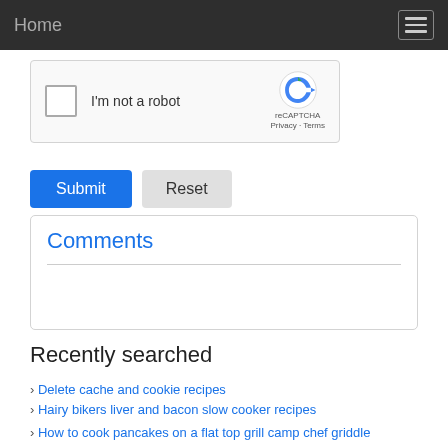Home
[Figure (screenshot): reCAPTCHA widget with checkbox labeled 'I'm not a robot' and reCAPTCHA logo with Privacy and Terms links]
Submit  Reset
Comments
Recently searched
Delete cache and cookie recipes
Hairy bikers liver and bacon slow cooker recipes
How to cook pancakes on a flat top grill camp chef griddle